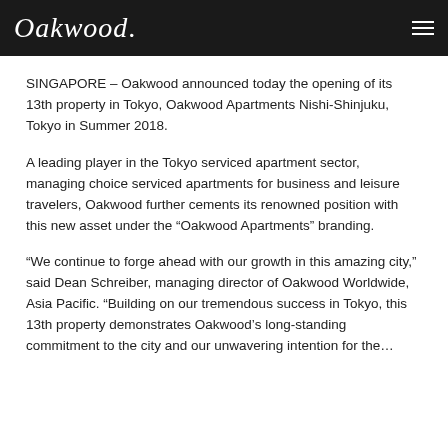Oakwood
SINGAPORE – Oakwood announced today the opening of its 13th property in Tokyo, Oakwood Apartments Nishi-Shinjuku, Tokyo in Summer 2018.
A leading player in the Tokyo serviced apartment sector, managing choice serviced apartments for business and leisure travelers, Oakwood further cements its renowned position with this new asset under the “Oakwood Apartments” branding.
“We continue to forge ahead with our growth in this amazing city,” said Dean Schreiber, managing director of Oakwood Worldwide, Asia Pacific. “Building on our tremendous success in Tokyo, this 13th property demonstrates Oakwood’s long-standing commitment to the city and our unwavering intention for the…